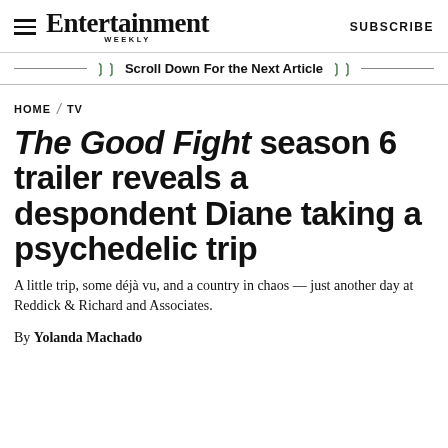Entertainment Weekly — SUBSCRIBE
Scroll Down For the Next Article
HOME / TV
The Good Fight season 6 trailer reveals a despondent Diane taking a psychedelic trip
A little trip, some déjà vu, and a country in chaos — just another day at Reddick & Richard and Associates.
By Yolanda Machado